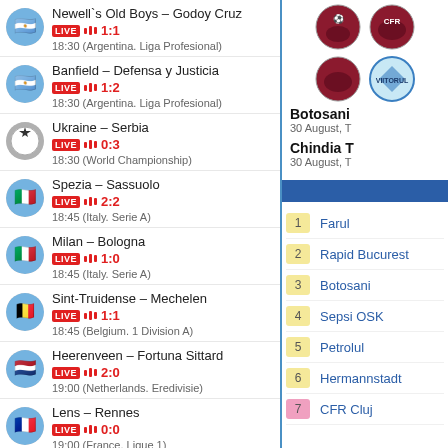Newell's Old Boys – Godoy Cruz LIVE 1:1 18:30 (Argentina. Liga Profesional)
Banfield – Defensa y Justicia LIVE 1:2 18:30 (Argentina. Liga Profesional)
Ukraine – Serbia LIVE 0:3 18:30 (World Championship)
Spezia – Sassuolo LIVE 2:2 18:45 (Italy. Serie A)
Milan – Bologna LIVE 1:0 18:45 (Italy. Serie A)
Sint-Truidense – Mechelen LIVE 1:1 18:45 (Belgium. 1 Division A)
Heerenveen – Fortuna Sittard LIVE 2:0 19:00 (Netherlands. Eredivisie)
Lens – Rennes LIVE 0:0 19:00 (France. Ligue 1)
Toronto – LA Angels LIVE 0:0 19:07 (MLB)
Italy – Canada LIVE 2:0 19:15 (World Championship)
Sporting – Chaves LIVE
[Figure (logo): Team logos for Botosani match]
Botosani
30 August, T
Chindia T
30 August, T
[Figure (infographic): Blue banner/header bar]
| Rank | Team |
| --- | --- |
| 1 | Farul |
| 2 | Rapid Bucurest |
| 3 | Botosani |
| 4 | Sepsi OSK |
| 5 | Petrolul |
| 6 | Hermannstadt |
| 7 | CFR Cluj |